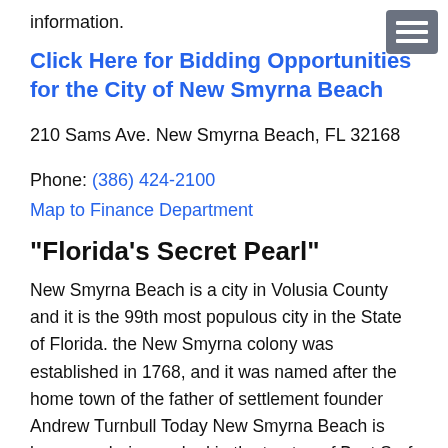information.
Click Here for Bidding Opportunities for the City of New Smyrna Beach
210 Sams Ave. New Smyrna Beach, FL 32168
Phone: (386) 424-2100
Map to Finance Department
"Florida's Secret Pearl"
New Smyrna Beach is a city in Volusia County and it is the 99th most populous city in the State of Florida. the New Smyrna colony was established in 1768, and it was named after the home town of the father of settlement founder Andrew Turnbull Today New Smyrna Beach is known as being ranked in the top ten of Best Surf Towns in Surfer magazine, and one of the world's top 20 surf towns in National Geographic.
New Smyrna Beach is a business positive city and it